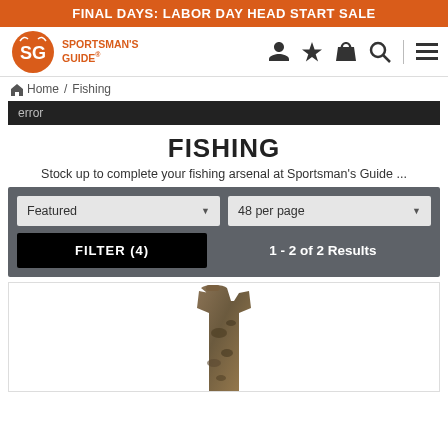FINAL DAYS: LABOR DAY HEAD START SALE
[Figure (logo): Sportsman's Guide SG logo with orange text]
Home / Fishing
error
FISHING
Stock up to complete your fishing arsenal at Sportsman's Guide ...
Featured | 48 per page
FILTER (4) | 1 - 2 of 2 Results
[Figure (photo): Camouflage fishing wader/bib overalls product image]